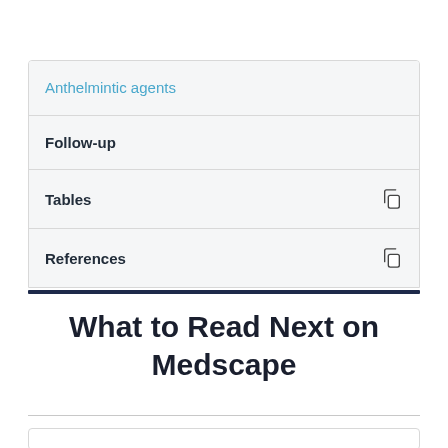Anthelmintic agents
Follow-up
Tables
References
What to Read Next on Medscape